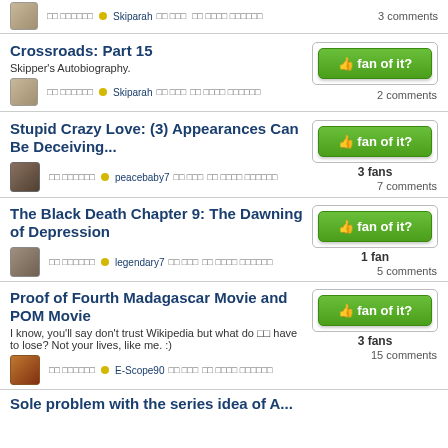Crossroads: Part 15 - Skipper's Autobiography. by Skiparah - 2 comments, fan of it?
Stupid Crazy Love: (3) Appearances Can Be Deceiving... by peacebaby7 - 3 fans, 7 comments, fan of it?
The Black Death Chapter 9: The Dawning of Depression by legendary7 - 1 fan, 5 comments, fan of it?
Proof of Fourth Madagascar Movie and POM Movie by E-Scope90 - I know, you'll say don't trust Wikipedia but what do [we] have to lose? Not your lives, like me. :) - 3 fans, 15 comments, fan of it?